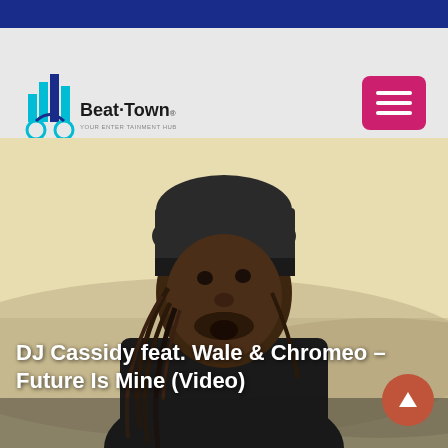[Figure (logo): Beat Town logo with headphone icon and colorful bar chart graphic]
[Figure (photo): Man wearing a black beanie hat with dreadlocks, looking upward, dark jacket, outdoor background with mountains and muted yellow/brown tones]
DJ Cassidy feat. Wale & Chromeo – Future Is Mine (Video)